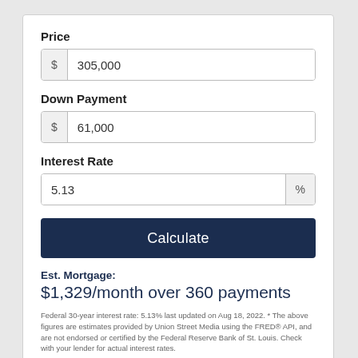Price
$ 305,000
Down Payment
$ 61,000
Interest Rate
5.13 %
Calculate
Est. Mortgage:
$1,329/month over 360 payments
Federal 30-year interest rate: 5.13% last updated on Aug 18, 2022. * The above figures are estimates provided by Union Street Media using the FRED® API, and are not endorsed or certified by the Federal Reserve Bank of St. Louis. Check with your lender for actual interest rates.